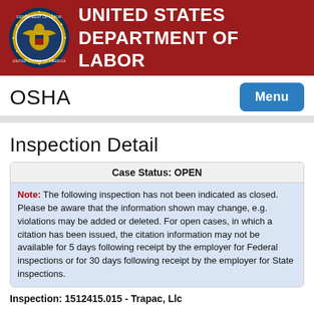UNITED STATES DEPARTMENT OF LABOR
OSHA
Inspection Detail
Case Status: OPEN
Note: The following inspection has not been indicated as closed. Please be aware that the information shown may change, e.g. violations may be added or deleted. For open cases, in which a citation has been issued, the citation information may not be available for 5 days following receipt by the employer for Federal inspections or for 30 days following receipt by the employer for State inspections.
Inspection: 1512415.015 - Trapac, Llc